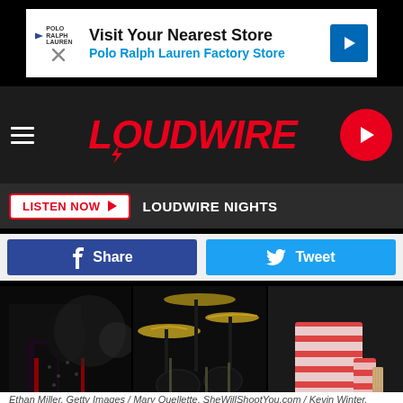[Figure (screenshot): Advertisement banner: Visit Your Nearest Store - Polo Ralph Lauren Factory Store]
[Figure (logo): Loudwire website navigation bar with hamburger menu, red LOUDWIRE logo with lightning bolt, and red circular play button]
LISTEN NOW   LOUDWIRE NIGHTS
[Figure (screenshot): Social sharing buttons: Facebook Share button (dark blue) and Twitter Tweet button (light blue)]
[Figure (photo): Three concert photos side by side: performer in dark outfit, drum kit up close, guitarist in striped shirt]
Ethan Miller, Getty Images / Mary Ouellette, SheWillShootYou.com / Kevin Winter, Getty Images
[Figure (screenshot): Advertisement: The Perfect Family Activity - Topgolf]
Music